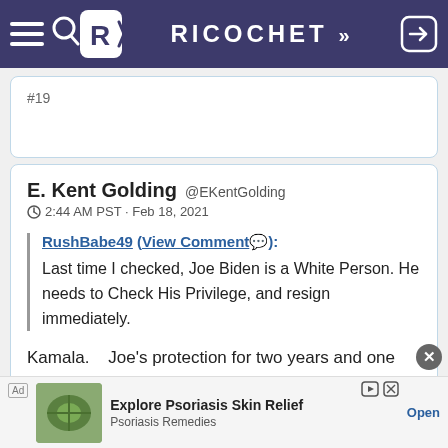RICOCHET
#19
E. Kent Golding @EKentGolding
2:44 AM PST · Feb 18, 2021

RushBabe49 (View Comment):
Last time I checked, Joe Biden is a White Person. He needs to Check His Privilege, and resign immediately.

Kamala.    Joe's protection for two years and one day.

#20
[Figure (other): Ad banner for Explore Psoriasis Skin Relief by Psoriasis Remedies with an image of a leaf/plant]